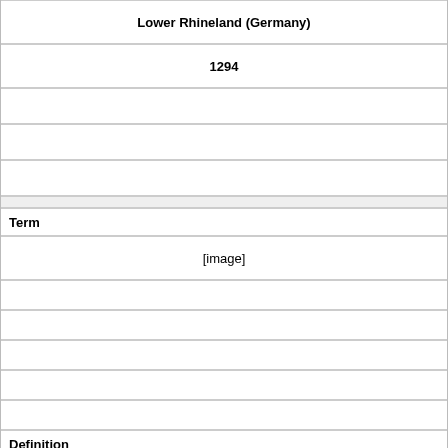Lower Rhineland (Germany)
1294
Term
[Figure (other): [image]]
Definition
Passover Scenes, The Golden Haggadah